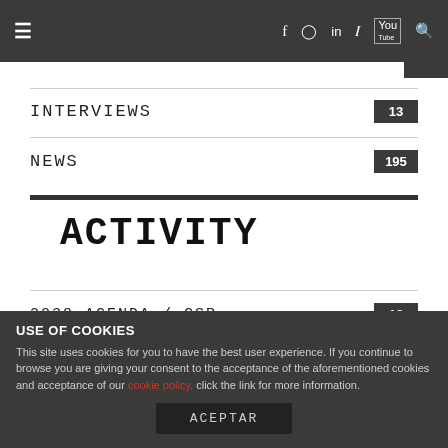≡  f  ○  in  🐦  You  🔍
INTERVIEWS  13
NEWS  195
ACTIVITY
2030 AGENDA / CSR  13
USE OF COOKIES
This site uses cookies for you to have the best user experience. If you continue to browse you are giving your consent to the acceptance of the aforementioned cookies and acceptance of our cookie policy, click the link for more information.
ACEPTAR